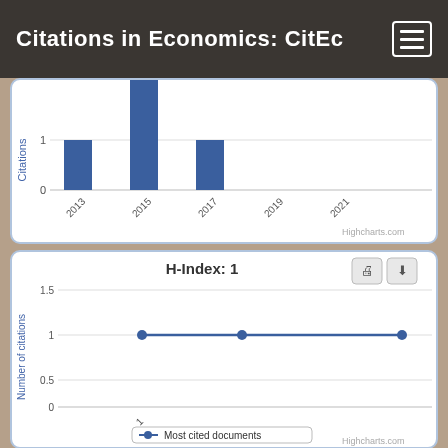Citations in Economics: CitEc
[Figure (bar-chart): Citations]
[Figure (line-chart): H-Index: 1]